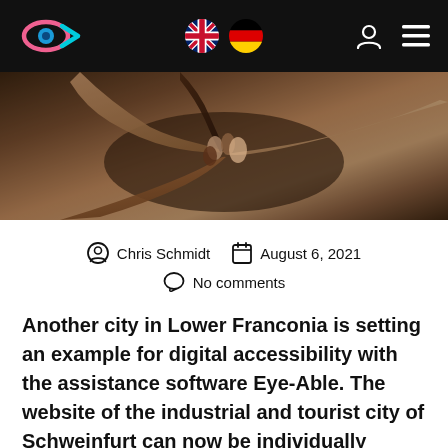Eye-Able website navigation bar with logo, language flags, user icon, and menu
[Figure (photo): Close-up of multiple diverse hands touching together in solidarity]
Chris Schmidt   August 6, 2021   No comments
Another city in Lower Franconia is setting an example for digital accessibility with the assistance software Eye-Able. The website of the industrial and tourist city of Schweinfurt can now be individually adapted